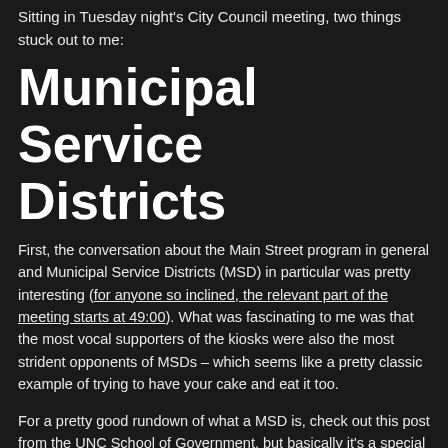Sitting in Tuesday night's City Council meeting, two things stuck out to me:
Municipal Service Districts
First, the conversation about the Main Street program in general and Municipal Service Districts (MSD) in particular was pretty interesting (for anyone so inclined, the relevant part of the meeting starts at 49:00). What was fascinating to me was that the most vocal supporters of the kiosks were also the most strident opponents of MSDs – which seems like a pretty classic example of trying to have your cake and eat it too.
For a pretty good rundown of what a MSD is, check out this post from the UNC School of Government, but basically it's a special tax district (the boundaries of which are set by city council) where the taxes raised in that district are dedicated